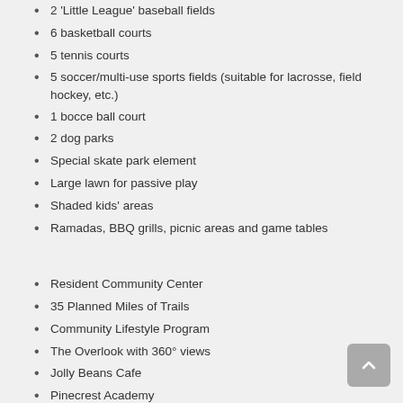2 'Little League' baseball fields
6 basketball courts
5 tennis courts
5 soccer/multi-use sports fields (suitable for lacrosse, field hockey, etc.)
1 bocce ball court
2 dog parks
Special skate park element
Large lawn for passive play
Shaded kids' areas
Ramadas, BBQ grills, picnic areas and game tables
Resident Community Center
35 Planned Miles of Trails
Community Lifestyle Program
The Overlook with 360° views
Jolly Beans Cafe
Pinecrest Academy
Other CCSD Schools: Del Webb Middle School, Wallin Elementary School
Proximity to shopping, dining, arts, & culture
Easy access to Sloan Canyon Preserve